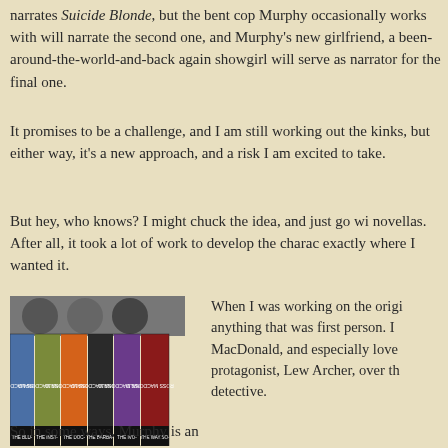narrates Suicide Blonde, but the bent cop Murphy occasionally works with will narrate the second one, and Murphy's new girlfriend, a been-around-the-world-and-back again showgirl will serve as narrator for the final one.
It promises to be a challenge, and I am still working out the kinks, but either way, it's a new approach, and a risk I am excited to take.
But hey, who knows? I might chuck the idea, and just go wi novellas. After all, it took a lot of work to develop the charac exactly where I wanted it.
[Figure (photo): A row of Ross Macdonald books showing spines: The Blu-, The Inst-, The Doc-, The Barbar-, The Ivo-, The Way So-]
When I was working on the origi anything that was first person. I MacDonald, and especially love protagonist, Lew Archer, over th detective.
So in some ways, Murphy is an